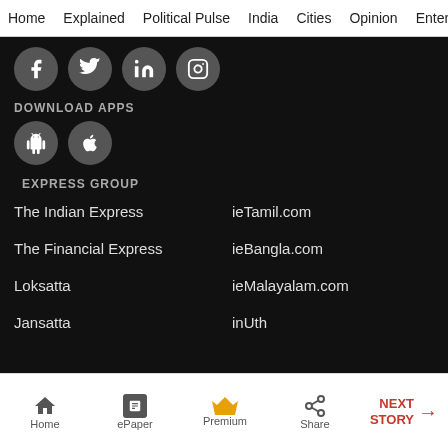Home  Explained  Political Pulse  India  Cities  Opinion  Entertainment
[Figure (illustration): Social media icons: Facebook, Twitter, LinkedIn, Instagram in grey circles on black background]
DOWNLOAD APPS
[Figure (illustration): App download icons: Android and Apple in grey circles on black background]
EXPRESS GROUP
The Indian Express
ieTamil.com
The Financial Express
ieBangla.com
Loksatta
ieMalayalam.com
Jansatta
inUth
Home  ePaper  Premium  Share  NEXT STORY